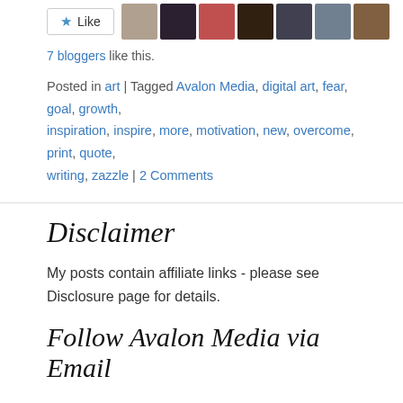[Figure (other): Like button with star icon and 7 blogger avatar thumbnails]
7 bloggers like this.
Posted in art | Tagged Avalon Media, digital art, fear, goal, growth, inspiration, inspire, more, motivation, new, overcome, print, quote, writing, zazzle | 2 Comments
Disclaimer
My posts contain affiliate links - please see Disclosure page for details.
Follow Avalon Media via Email